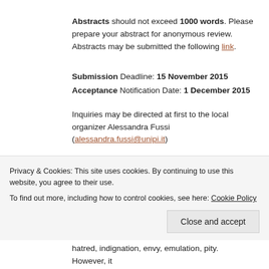Abstracts should not exceed 1000 words. Please prepare your abstract for anonymous review. Abstracts may be submitted the following link.
Submission Deadline: 15 November 2015
Acceptance Notification Date: 1 December 2015
Inquiries may be directed at first to the local organizer Alessandra Fussi (alessandra.fussi@unipi.it)
Aims & Topics
The workshop aims at discussing the theoretical, practical and historical aspects involved in emotions
Privacy & Cookies: This site uses cookies. By continuing to use this website, you agree to their use.
To find out more, including how to control cookies, see here: Cookie Policy
hatred, indignation, envy, emulation, pity. However, it